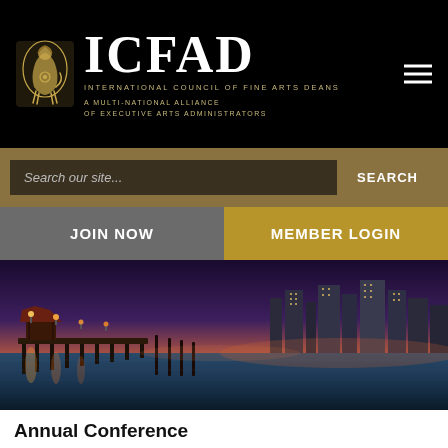[Figure (logo): ICFAD logo with heraldic crest and text: ICFAD - International Council of Fine Arts Deans, A Multi-National Alliance of Executive Arts Administrators]
[Figure (screenshot): Search bar with placeholder 'Search our site...' and SEARCH button]
JOIN NOW
MEMBER LOGIN
[Figure (photo): Nighttime waterfront photo of San Diego with pier/dock in foreground and city skyline in background, warm lights reflecting on water]
Annual Conference
Throughout the international conurbation of San Diego, California and Tijuana, Baja California - Mexico | Thursday